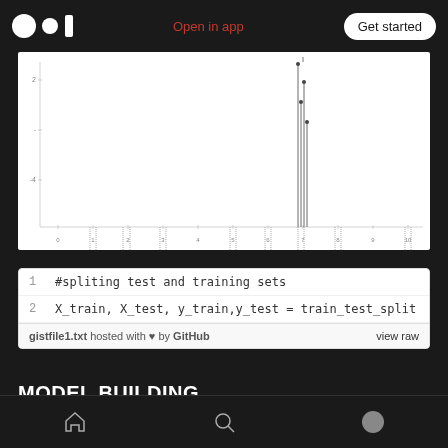Open in app  Get started
[Figure (continuous-plot): A stem plot or scatter plot showing data points distributed along an x-axis with vertical stems dropping down, displayed on a white background. Several clusters of stems are visible across the x-axis range.]
[Figure (screenshot): GitHub Gist code snippet showing Python code: line 1 '#spliting test and training sets', line 2 'X_train, X_test, y_train,y_test = train_test_split'. Footer shows 'gistfile1.txt hosted with ♥ by GitHub' and 'view raw'.]
MODEL BUILDING
In this project, we build an artificial neural